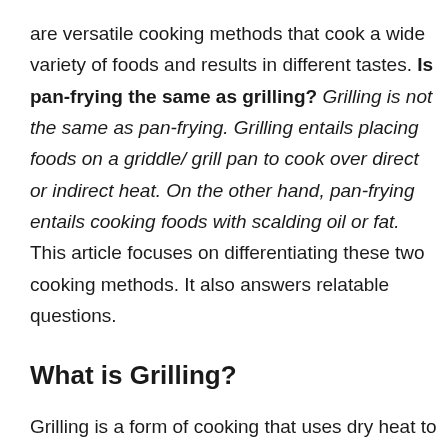are versatile cooking methods that cook a wide variety of foods and results in different tastes. Is pan-frying the same as grilling? Grilling is not the same as pan-frying. Grilling entails placing foods on a griddle/ grill pan to cook over direct or indirect heat. On the other hand, pan-frying entails cooking foods with scalding oil or fat. This article focuses on differentiating these two cooking methods. It also answers relatable questions.
What is Grilling?
Grilling is a form of cooking that uses dry heat to cook food surfaces from below. Usually, the heating